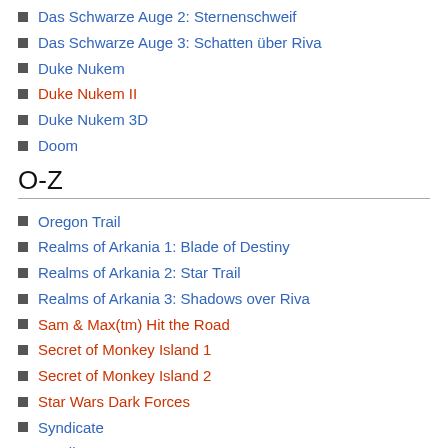Das Schwarze Auge 2: Sternenschweif
Das Schwarze Auge 3: Schatten über Riva
Duke Nukem
Duke Nukem II
Duke Nukem 3D
Doom
O-Z
Oregon Trail
Realms of Arkania 1: Blade of Destiny
Realms of Arkania 2: Star Trail
Realms of Arkania 3: Shadows over Riva
Sam & Max(tm) Hit the Road
Secret of Monkey Island 1
Secret of Monkey Island 2
Star Wars Dark Forces
Syndicate
Syndicate Wars
Test Drive
Test Drive 3
Under a Killing Moon
Virtual Reality Studio